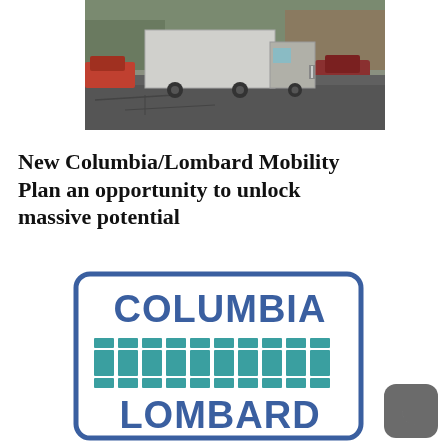[Figure (photo): Street-level photo showing a large semi-truck and other vehicles driving on a cracked asphalt road]
New Columbia/Lombard Mobility Plan an opportunity to unlock massive potential
[Figure (logo): Columbia Lombard logo: rectangular border with COLUMBIA text on top, a row of teal vertical bar segments in the middle, and LOMBARD text on the bottom, all in blue and teal colors]
[Figure (logo): Dark gray rounded square icon with a white crescent moon symbol]